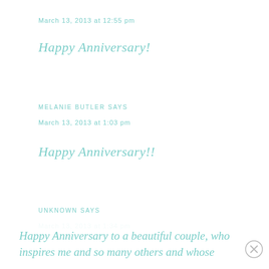March 13, 2013 at 12:55 pm
Happy Anniversary!
MELANIE BUTLER SAYS
March 13, 2013 at 1:03 pm
Happy Anniversary!!
UNKNOWN SAYS
March 13, 2013 at 1:34 pm
Happy Anniversary to a beautiful couple, who inspires me and so many others and whose